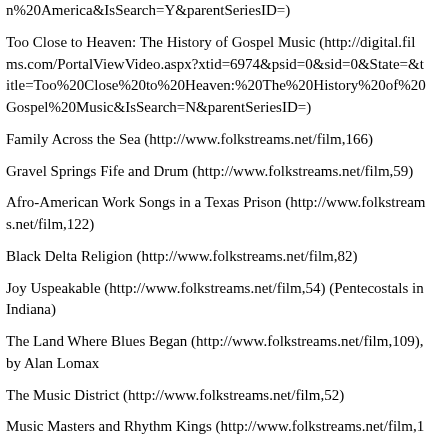n%20America&IsSearch=Y&parentSeriesID=)
Too Close to Heaven: The History of Gospel Music (http://digital.films.com/PortalViewVideo.aspx?xtid=6974&psid=0&sid=0&State=&title=Too%20Close%20to%20Heaven:%20The%20History%20of%20Gospel%20Music&IsSearch=N&parentSeriesID=)
Family Across the Sea (http://www.folkstreams.net/film,166)
Gravel Springs Fife and Drum (http://www.folkstreams.net/film,59)
Afro-American Work Songs in a Texas Prison (http://www.folkstreams.net/film,122)
Black Delta Religion (http://www.folkstreams.net/film,82)
Joy Uspeakable (http://www.folkstreams.net/film,54) (Pentecostals in Indiana)
The Land Where Blues Began (http://www.folkstreams.net/film,109), by Alan Lomax
The Music District (http://www.folkstreams.net/film,52)
Music Masters and Rhythm Kings (http://www.folkstreams.net/film,1